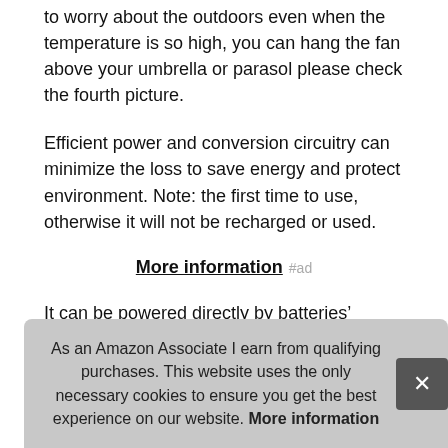to worry about the outdoors even when the temperature is so high, you can hang the fan above your umbrella or parasol please check the fourth picture.
Efficient power and conversion circuitry can minimize the loss to save energy and protect environment. Note: the first time to use, otherwise it will not be recharged or used.
More information #ad
It can be powered directly by batteries' mobile power, please open the battery cover and TAKE OUT the plastic insulator before using the fan, wall charger and so on. Brushless motor makes the fan durable. Foldable& multipurpose design: the min
You tab lightweight design:when you go outside, especially suitable for
As an Amazon Associate I earn from qualifying purchases. This website uses the only necessary cookies to ensure you get the best experience on our website. More information